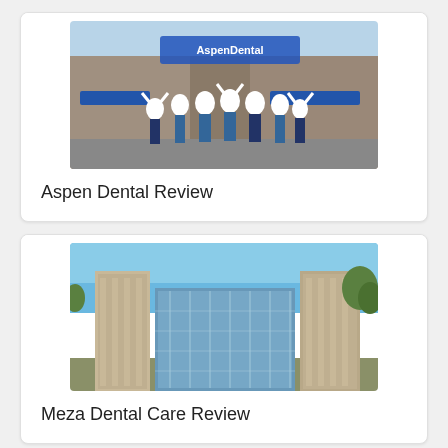[Figure (photo): Group of dental staff in white coats jumping joyfully in front of an Aspen Dental office building with blue awnings]
Aspen Dental Review
[Figure (photo): Exterior photo of a modern multi-story glass and concrete office building under a blue sky with trees in background]
Meza Dental Care Review